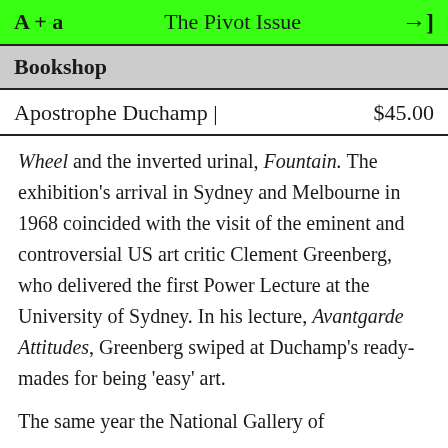A + a   The Pivot Issue   →]
Bookshop
Apostrophe Duchamp |   $45.00
Wheel and the inverted urinal, Fountain. The exhibition's arrival in Sydney and Melbourne in 1968 coincided with the visit of the eminent and controversial US art critic Clement Greenberg, who delivered the first Power Lecture at the University of Sydney. In his lecture, Avantgarde Attitudes, Greenberg swiped at Duchamp's ready-mades for being 'easy' art.
The same year the National Gallery of